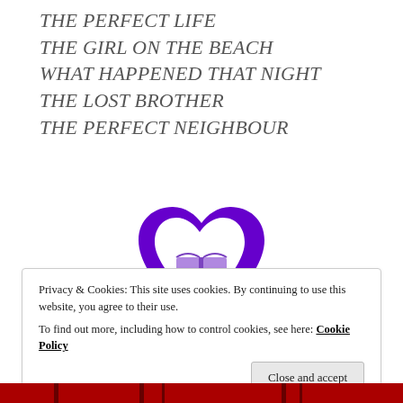THE PERFECT LIFE
THE GIRL ON THE BEACH
WHAT HAPPENED THAT NIGHT
THE LOST BROTHER
THE PERFECT NEIGHBOUR
[Figure (logo): Purple heart shape with an open book icon in the center, rendered in purple tones]
Privacy & Cookies: This site uses cookies. By continuing to use this website, you agree to their use.
To find out more, including how to control cookies, see here: Cookie Policy